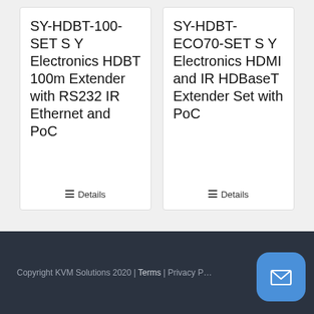SY-HDBT-100-SET S Y Electronics HDBT 100m Extender with RS232 IR Ethernet and PoC
Details
SY-HDBT-ECO70-SET S Y Electronics HDMI and IR HDBaseT Extender Set with PoC
Details
Copyright KVM Solutions 2020 | Terms | Privacy P…